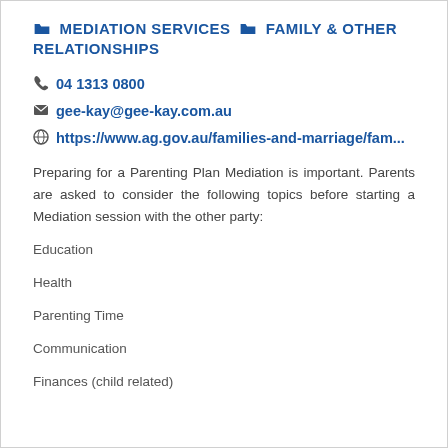MEDIATION SERVICES  FAMILY & OTHER RELATIONSHIPS
04 1313 0800
gee-kay@gee-kay.com.au
https://www.ag.gov.au/families-and-marriage/fam...
Preparing for a Parenting Plan Mediation is important. Parents are asked to consider the following topics before starting a Mediation session with the other party:
Education
Health
Parenting Time
Communication
Finances (child related)